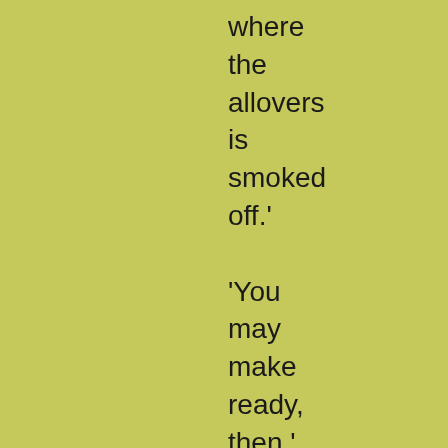where the allovers is smoked off.' 'You may make ready, then,' replies the visitor, 'as soon as you like.'